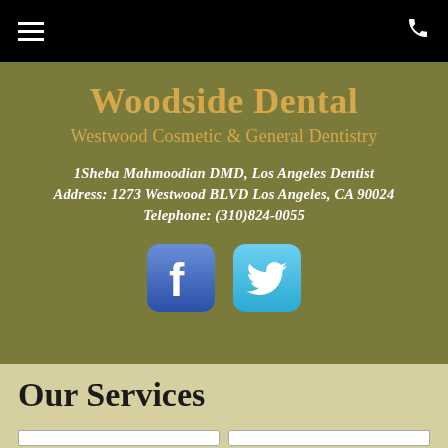Woodside Dental — menu and phone navigation bar
Woodside Dental
Westwood Cosmetic & General Dentistry
1Sheba Mahmoodian DMD, Los Angeles Dentist
Address: 1273 Westwood BLVD Los Angeles, CA 90024
Telephone: (310)824-0055
[Figure (logo): Facebook logo icon — blue rounded square with white f]
[Figure (logo): Twitter logo icon — light blue rounded square with white bird/t]
Our Services